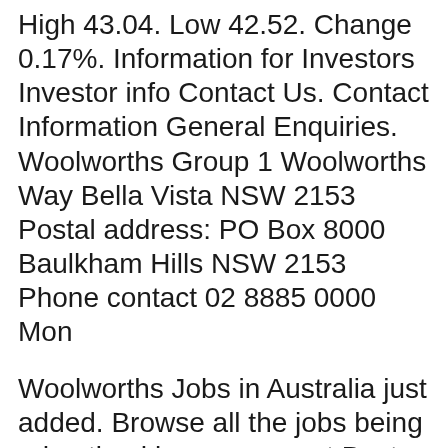High 43.04. Low 42.52. Change 0.17%. Information for Investors Investor info Contact Us. Contact Information General Enquiries. Woolworths Group 1 Woolworths Way Bella Vista NSW 2153 Postal address: PO Box 8000 Baulkham Hills NSW 2153 Phone contact 02 8885 0000 Mon
Woolworths Jobs in Australia just added. Browse all the jobs being advertised in your area at Best Jobs Online, the best site for jobs in Australia Best Jobs Online. Woolworths Jobs in Australia. Leave us your email address and we'll send Jobs now available in Carnes Hill NSW. Crew Member, Pharmacy Assistant, Shop Assistant and more on